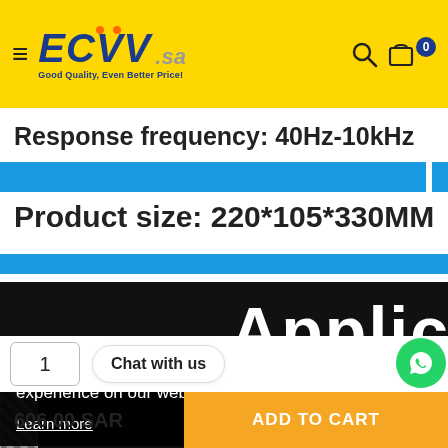ECVV.sa — Good Quality, Even Better Price!
Response frequency: 40Hz-10kHz
Product size: 220*105*330MM
[Figure (screenshot): Partial product image with 'Applic' text visible on black background, and diagonal stripe pattern on left side]
This website uses cookies to ensure you get the best experience on our website.
Learn more
1
Chat with us
606.00 SAR
ADD TO CART